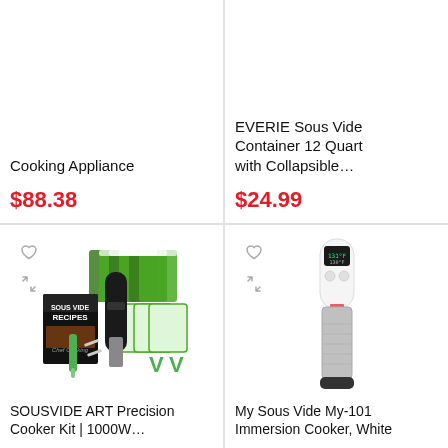Cooking Appliance
$88.38
EVERIE Sous Vide Container 12 Quart with Collapsible…
$24.99
[Figure (photo): SOUSVIDE ART Precision Cooker Kit with bags, recipes book, and accessories]
SOUSVIDE ART Precision Cooker Kit | 1000W…
[Figure (photo): My Sous Vide My-101 Immersion Cooker, White - white and silver immersion circulator]
My Sous Vide My-101 Immersion Cooker, White